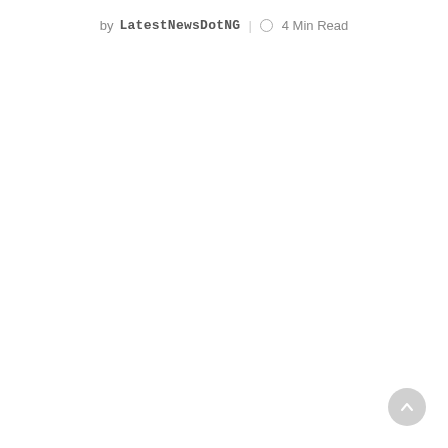by LatestNewsDotNG | ○ 4 Min Read
[Figure (other): Scroll-to-top circular button with upward arrow, light grey, bottom-right corner]